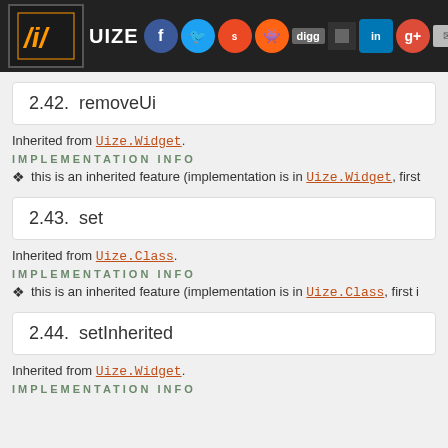UIZE
2.42. removeUi
Inherited from Uize.Widget.
IMPLEMENTATION INFO
this is an inherited feature (implementation is in Uize.Widget, first...
2.43. set
Inherited from Uize.Class.
IMPLEMENTATION INFO
this is an inherited feature (implementation is in Uize.Class, first i...
2.44. setInherited
Inherited from Uize.Widget.
IMPLEMENTATION INFO